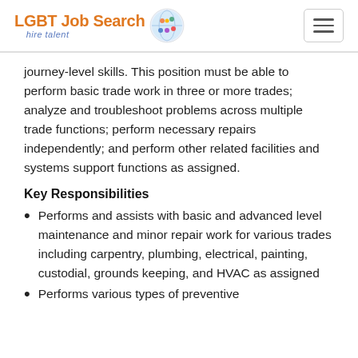LGBT Job Search hire talent
journey-level skills. This position must be able to perform basic trade work in three or more trades; analyze and troubleshoot problems across multiple trade functions; perform necessary repairs independently; and perform other related facilities and systems support functions as assigned.
Key Responsibilities
Performs and assists with basic and advanced level maintenance and minor repair work for various trades including carpentry, plumbing, electrical, painting, custodial, grounds keeping, and HVAC as assigned
Performs various types of preventive